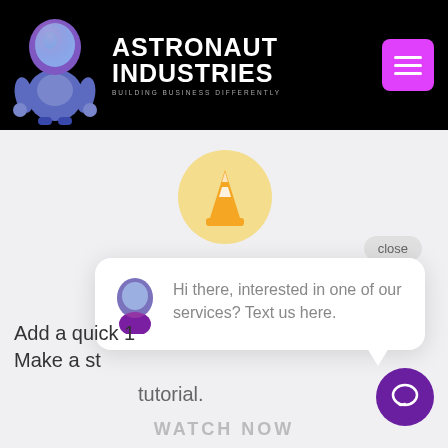[Figure (logo): Astronaut Industries logo with astronaut character and brand name on black header bar]
[Figure (illustration): VLC-style traffic cone icon inside a light yellow circle]
close
[Figure (illustration): Chat popup bubble with astronaut avatar saying: Hi there, interested in one of our services? Text us here.]
Hi there, interested in one of our services? Text us here.
Add a quick 1
Make a st
tutorial.
WATCH NOW
[Figure (illustration): Purple circular chat/SMS button in bottom right corner]